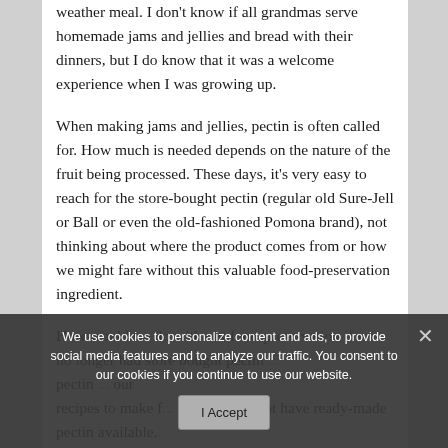weather meal. I don't know if all grandmas serve homemade jams and jellies and bread with their dinners, but I do know that it was a welcome experience when I was growing up.
When making jams and jellies, pectin is often called for. How much is needed depends on the nature of the fruit being processed. These days, it's very easy to reach for the store-bought pectin (regular old Sure-Jell or Ball or even the old-fashioned Pomona brand), not thinking about where the product comes from or how we might fare without this valuable food-preservation ingredient.
How would we do with our food-preservation if we no longer had store bought pectin ... pectin ... our recipes to make t... when we do not have ready-made pectin available.
We use cookies to personalize content and ads, to provide social media features and to analyze our traffic. You consent to our cookies if you continue to use our website.